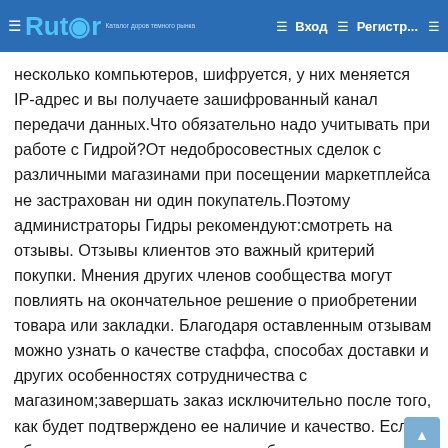Rutor — Вход — Регистр...
несколько компьютеров, шифруется, у них меняется IP-адрес и вы получаете зашифрованный канал передачи данных.Что обязательно надо учитывать при работе с Гидрой?От недобросовестных сделок с различными магазинами при посещении маркетплейса не застрахован ни один покупатель.Поэтому администраторы Гидры рекомендуют:смотреть на отзывы. Отзывы клиентов это важный критерий покупки. Мнения других членов сообщества могут повлиять на окончательное решение о приобретении товара или закладки. Благодаря оставленным отзывам можно узнать о качестве стаффа, способах доставки и других особенностях сотрудничества с магазином;завершать заказ исключительно после того, как будет подтверждено ее наличие и качество. Если образовались сложности или проблемы, а подтверждение уже сделано, в таком случае деньги не удастся вернуть;оставлять отзывы после покупок. Это может помочь другим клиентам магазина совершить правильный выбор и не совершить ошибку при выборе продавца;использовать